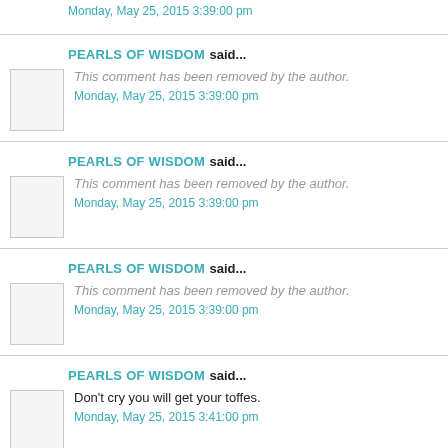Monday, May 25, 2015 3:39:00 pm
PEARLS OF WISDOM said...
This comment has been removed by the author.
Monday, May 25, 2015 3:39:00 pm
PEARLS OF WISDOM said...
This comment has been removed by the author.
Monday, May 25, 2015 3:39:00 pm
PEARLS OF WISDOM said...
This comment has been removed by the author.
Monday, May 25, 2015 3:39:00 pm
PEARLS OF WISDOM said...
Don't cry you will get your toffes.
Monday, May 25, 2015 3:41:00 pm